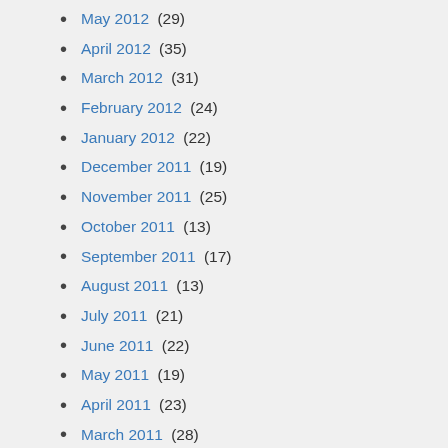May 2012 (29)
April 2012 (35)
March 2012 (31)
February 2012 (24)
January 2012 (22)
December 2011 (19)
November 2011 (25)
October 2011 (13)
September 2011 (17)
August 2011 (13)
July 2011 (21)
June 2011 (22)
May 2011 (19)
April 2011 (23)
March 2011 (28)
February 2011 (23)
January 2011 (21)
December 2010 (23)